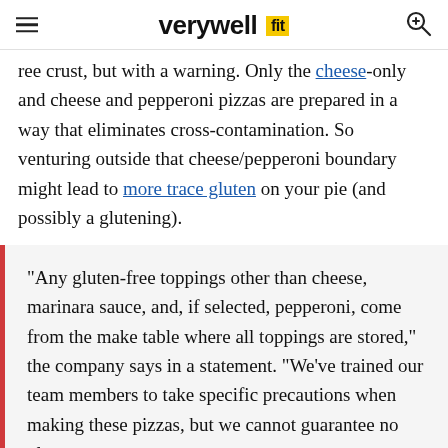verywell fit
ree crust, but with a warning. Only the cheese-only and cheese and pepperoni pizzas are prepared in a way that eliminates cross-contamination. So venturing outside that cheese/pepperoni boundary might lead to more trace gluten on your pie (and possibly a glutening).
"Any gluten-free toppings other than cheese, marinara sauce, and, if selected, pepperoni, come from the make table where all toppings are stored," the company says in a statement. "We've trained our team members to take specific precautions when making these pizzas, but we cannot guarantee no gluten